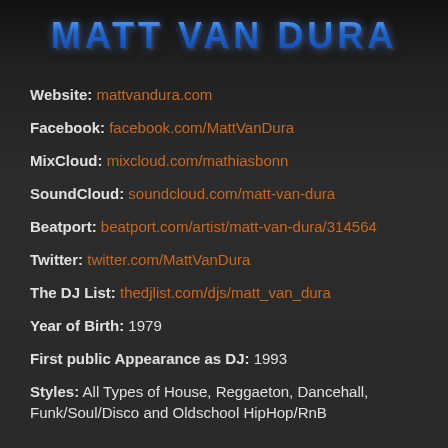MATT VAN DURA
Website: mattvandura.com
Facebook: facebook.com/MattVanDura
MixCloud: mixcloud.com/mathiasbonn
SoundCloud: soundcloud.com/matt-van-dura
Beatport: beatport.com/artist/matt-van-dura/314564
Twitter: twitter.com/MattVanDura
The DJ List: thedjlist.com/djs/matt_van_dura
Year of Birth: 1979
First public Appearance as DJ: 1993
Styles: All Types of House, Reggaeton, Dancehall, Funk/Soul/Disco and Oldschool HipHop/RnB